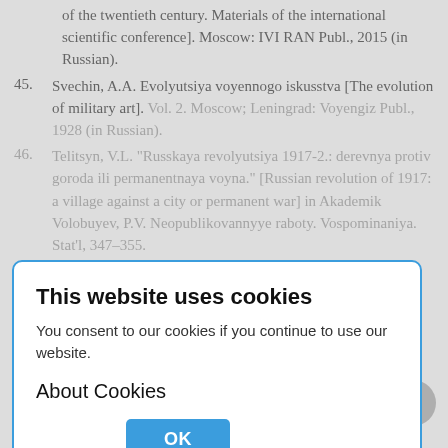of the twentieth century. Materials of the international scientific conference]. Moscow: IVI RAN Publ., 2015 (in Russian).
45. Svechin, A.A. Evolyutsiya voyennogo iskusstva [The evolution of military art]. Vol. 2. Moscow; Leningrad: Voyengiz Publ., 1928 (in Russian).
46. Telitsyn, V.L. "Russkaya revolyutsiya 1917-2.: derevnya protiv goroda ili permanentnaya voyna." [Russian revolution of 1917: a village against a city or permanent war] in Akademik Volobuyev, P.V. Neopublikovannyye raboty. Vospominaniya. Stat'l, 347–355. Moscow: Nauka Publ., 2000 (in Russian).
47. Tokvil', A. Staryy poryadok i revolyutsiya [Old order and revolution]. Moscow: Aleteyya Publ., 1997 (in Russian).
This website uses cookies
You consent to our cookies if you continue to use our website.
About Cookies
OK